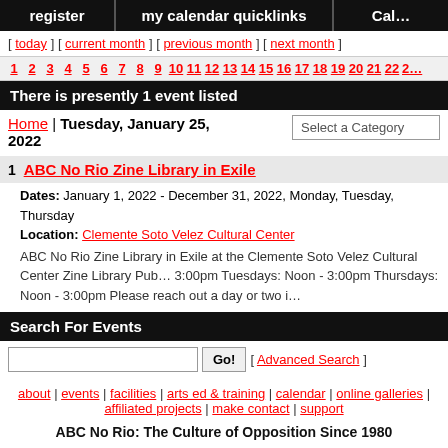register | my calendar quicklinks | Cal…
[ today ] [ current month ] [ previous month ] [ next month ]
1 2 3 4 5 6 7 8 9 10 11 12 13 14 15 16 17 18 19 20 21 22 2…
There is presently 1 event listed
Home | Tuesday, January 25, 2022
1 ABC No Rio Zine Library in Exile
Dates: January 1, 2022 - December 31, 2022, Monday, Tuesday, Thursday
Location: Clemente Soto Velez Cultural Center
ABC No Rio Zine Library in Exile at the Clemente Soto Velez Cultural Center Zine Library Pub… 3:00pm Tuesdays: Noon - 3:00pm Thursdays: Noon - 3:00pm Please reach out a day or two i…
Search For Events
[ Advanced Search ]
about | events | facilities | arts ed & training | calendar | online galleries | affiliated projects | make contact | support
ABC No Rio: The Culture of Opposition Since 1980